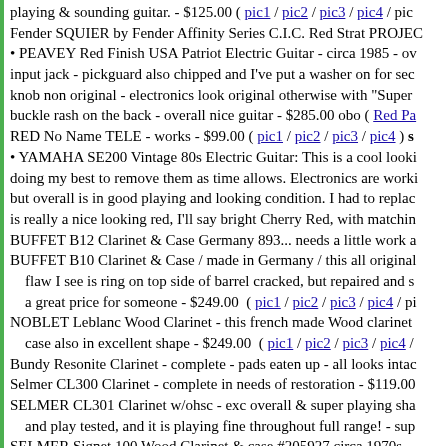playing & sounding guitar. - $125.00 ( pic1 / pic2 / pic3 / pic4 / pic... Fender SQUIER by Fender Affinity Series C.I.C. Red Strat PROJEC... • PEAVEY Red Finish USA Patriot Electric Guitar - circa 1985 - ov... input jack - pickguard also chipped and I've put a washer on for sec... knob non original - electronics look original otherwise with "Super buckle rash on the back - overall nice guitar - $285.00 obo ( Red Pa... RED No Name TELE - works - $99.00 ( pic1 / pic2 / pic3 / pic4 ) s... • YAMAHA SE200 Vintage 80s Electric Guitar: This is a cool looki... doing my best to remove them as time allows. Electronics are worki... but overall is in good playing and looking condition. I had to replac... is really a nice looking red, I'll say bright Cherry Red, with matchin... BUFFET B12 Clarinet & Case Germany 893... needs a little work a... BUFFET B10 Clarinet & Case / made in Germany / this all original... flaw I see is ring on top side of barrel cracked, but repaired and s... a great price for someone - $249.00 ( pic1 / pic2 / pic3 / pic4 / pi... NOBLET Leblanc Wood Clarinet - this french made Wood clarinet... case also in excellent shape - $249.00 ( pic1 / pic2 / pic3 / pic4 /... Bundy Resonite Clarinet - complete - pads eaten up - all looks intac... Selmer CL300 Clarinet - complete in needs of restoration - $119.00... SELMER CL301 Clarinet w/ohsc - exc overall & super playing sha... and play tested, and it is playing fine throughout full range! - sup... SELMER Signet 100 Wood Clarinet & case #205927 circa 1970s -... makes me think 70s - this Wood Clarinet is in Excellent playing s... is sold with mouthpiece optional - $155.00 ( pic1 / pic2 / pic3 / p... VITO by Leblanc model 7214 Clarinet & OHSC NICE! - This Very...